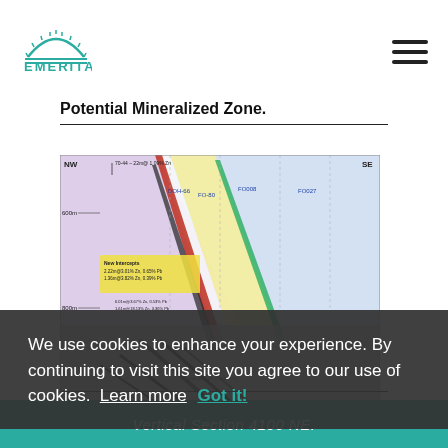EMERITA
Potential Mineralized Zone.
[Figure (engineering-diagram): Vertical cross-section geological diagram showing NW-SE orientation with mineralized zones, drill holes (DOH-66, FO-80, FO008, FO027), and stratigraphic layers with assay results including Zn and Pb grades. Labels include 'New Intercepts' with values such as 2.22m@3.01%Zn, 0.65%Pb and 1.36m@3.82%Zn, 0.39%Pb.]
We use cookies to enhance your experience. By continuing to visit this site you agree to our use of cookies.  Learn more
Vertical Section 4100 NE.